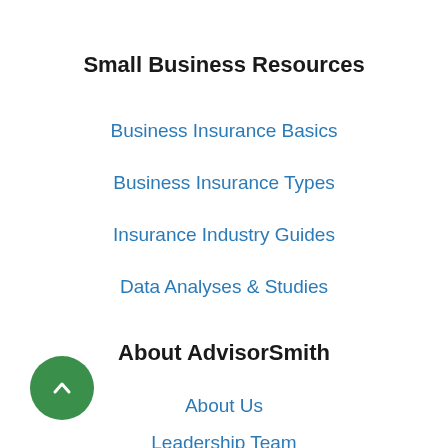Small Business Resources
Business Insurance Basics
Business Insurance Types
Insurance Industry Guides
Data Analyses & Studies
About AdvisorSmith
About Us
Leadership Team
Press Room